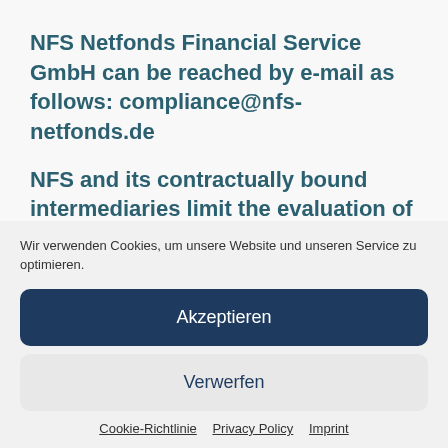NFS Netfonds Financial Service GmbH can be reached by e-mail as follows: compliance@nfs-netfonds.de
NFS and its contractually bound intermediaries limit the evaluation of the ...
Wir verwenden Cookies, um unsere Website und unseren Service zu optimieren.
Akzeptieren
Verwerfen
Cookie-Richtlinie · Privacy Policy · Imprint